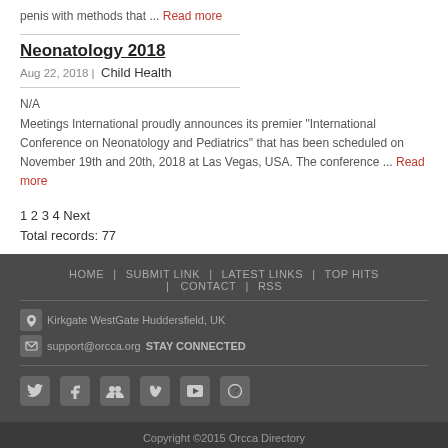penis with methods that ... Read more
Neonatology 2018
Aug 22, 2018 | Child Health
N/A
Meetings International proudly announces its premier "International Conference on Neonatology and Pediatrics" that has been scheduled on November 19th and 20th, 2018 at Las Vegas, USA. The conference ... Read more
1 2 3 4 Next
Total records: 77
HOME | SUBMIT LINK | LATEST LINKS | TOP HITS | CONTACT | RSS
Kirkgate WestGate Huddersfield, UK  support@orcca.orgSTAY CONNECTED
Copyright ©2015 Orcca Directory